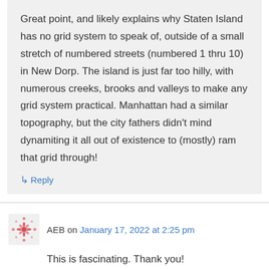Great point, and likely explains why Staten Island has no grid system to speak of, outside of a small stretch of numbered streets (numbered 1 thru 10) in New Dorp. The island is just far too hilly, with numerous creeks, brooks and valleys to make any grid system practical. Manhattan had a similar topography, but the city fathers didn't mind dynamiting it all out of existence to (mostly) ram that grid through!
↳ Reply
AEB on January 17, 2022 at 2:25 pm
This is fascinating. Thank you!